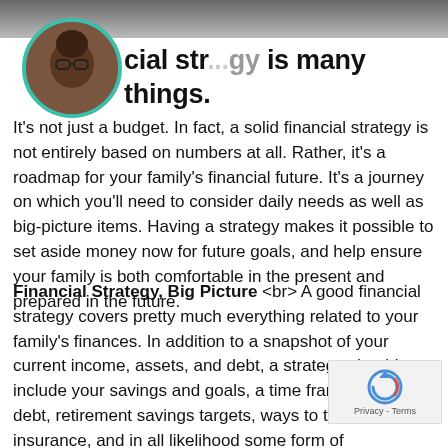[Figure (photo): Top strip showing a blurred background image of documents/papers]
[Figure (photo): Circular avatar photo of a person wearing glasses, with teal/green border]
cial strategy is many things.
It's not just a budget. In fact, a solid financial strategy is not entirely based on numbers at all. Rather, it's a roadmap for your family's financial future. It's a journey on which you'll need to consider daily needs as well as big-picture items. Having a strategy makes it possible to set aside money now for future goals, and help ensure your family is both comfortable in the present and prepared in the future.
Financial Strategy, Big Picture <br> A good financial strategy covers pretty much everything related to your family's finances. In addition to a snapshot of your current income, assets, and debt, a strategy should include your savings and goals, a time frame for down debt, retirement savings targets, ways to taxes and insurance, and in all likelihood some form of
[Figure (logo): Google reCAPTCHA widget with circular arrow logo and Privacy - Terms text]